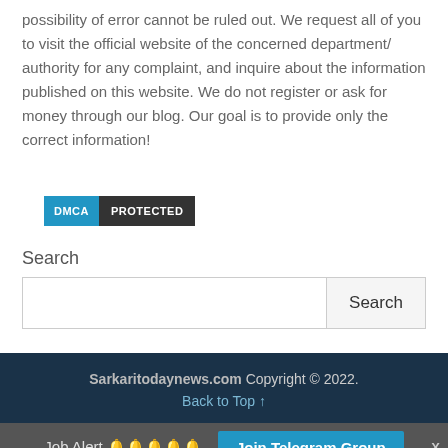possibility of error cannot be ruled out. We request all of you to visit the official website of the concerned department/ authority for any complaint, and inquire about the information published on this website. We do not register or ask for money through our blog. Our goal is to provide only the correct information!
[Figure (logo): DMCA PROTECTED badge with blue DMCA label and dark grey PROTECTED label]
Search
Search button and input field
Sarkaritodaynews.com Copyright © 2022. Back to Top ↑
Job Alert 🔔🔔🔔🔔🔔  Join Telegram Group  X